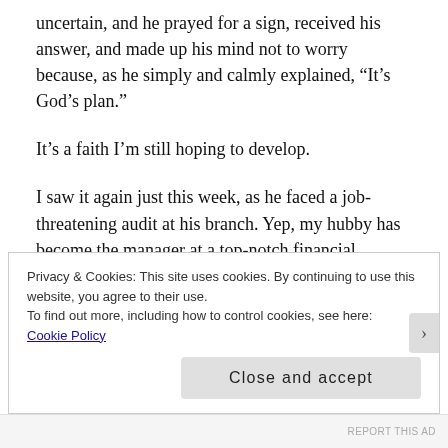uncertain, and he prayed for a sign, received his answer, and made up his mind not to worry because, as he simply and calmly explained, “It’s God’s plan.”
It’s a faith I’m still hoping to develop.
I saw it again just this week, as he faced a job-threatening audit at his branch. Yep, my hubby has become the manager at a top-notch financial branch, and earned plenty of top-performer awards and trips along the way. (Just for kicks, I googled my ex last year
Privacy & Cookies: This site uses cookies. By continuing to use this website, you agree to their use.
To find out more, including how to control cookies, see here:
Cookie Policy
Close and accept
REPORT THIS AD